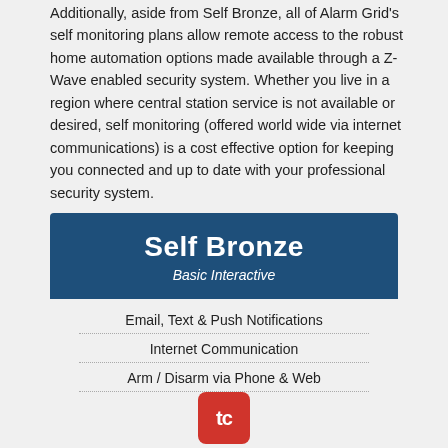Additionally, aside from Self Bronze, all of Alarm Grid's self monitoring plans allow remote access to the robust home automation options made available through a Z-Wave enabled security system. Whether you live in a region where central station service is not available or desired, self monitoring (offered world wide via internet communications) is a cost effective option for keeping you connected and up to date with your professional security system.
Self Bronze
Basic Interactive
Email, Text & Push Notifications
Internet Communication
Arm / Disarm via Phone & Web
[Figure (logo): Red rounded square logo with white letters 'tc']